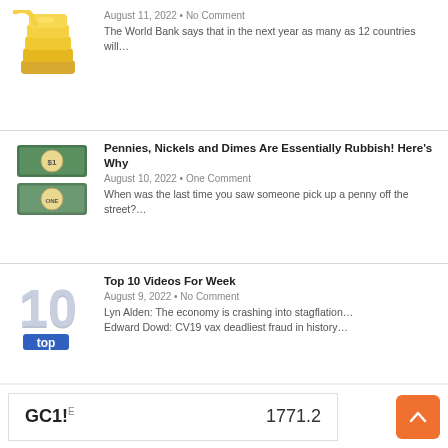[Figure (illustration): Gold coins stacked, partially cropped at top]
August 11, 2022 • No Comment
The World Bank says that in the next year as many as 12 countries will…
[Figure (photo): One dollar and two dollar US banknotes]
Pennies, Nickels and Dimes Are Essentially Rubbish! Here's Why
August 10, 2022 • One Comment
When was the last time you saw someone pick up a penny off the street?…
[Figure (illustration): Number 10 with TOP text, 3D silver/blue rendering]
Top 10 Videos For Week
August 9, 2022 • No Comment
Lyn Alden: The economy is crashing into stagflation… Edward Dowd: CV19 vax deadliest fraud in history…
[Figure (screenshot): Inflation stock market chart image with INFLATION text]
Inflation Reduction Act: Here Are Some Winner & Loser Stocks
August 8, 2022 • No Comment
…It looks like the Inflation Reduction Act is about to become reality - and this…
Next »
GC1!E  1771.2